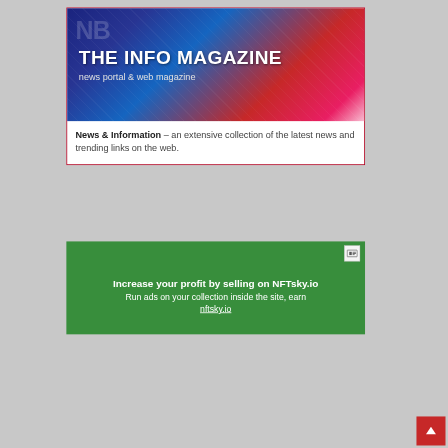[Figure (illustration): Banner image for 'The Info Magazine' with dark blue and red gradient background with abstract circular lines, showing the text 'THE INFO MAGAZINE' and 'news portal & web magazine']
News & Information – an extensive collection of the latest news and trending links on the web.
[Figure (infographic): Green advertisement banner for NFTsky.io with text: 'Increase your profit by selling on NFTsky.io', 'Run ads on your collection inside the site, earn', 'nftsky.io'. Has a small ad slot icon in top right corner.]